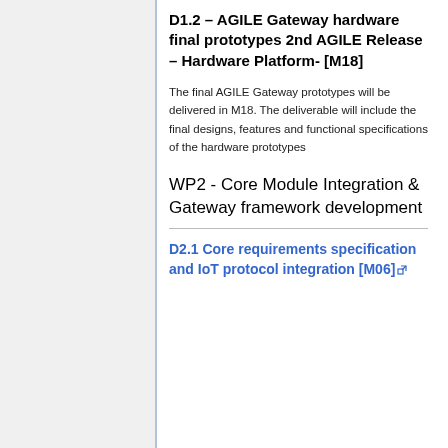D1.2 – AGILE Gateway hardware final prototypes 2nd AGILE Release – Hardware Platform- [M18]
The final AGILE Gateway prototypes will be delivered in M18. The deliverable will include the final designs, features and functional specifications of the hardware prototypes
WP2 - Core Module Integration & Gateway framework development
D2.1 Core requirements specification and IoT protocol integration [M06]